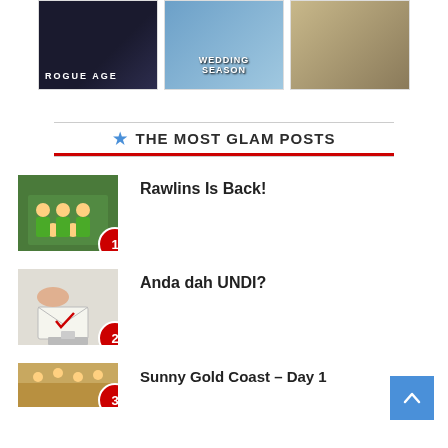[Figure (photo): Three images in a horizontal strip: a dark thriller show poster with text 'ROGUE AGE', a 'Wedding Season' show poster with a couple embracing, and a restaurant interior photo]
★ THE MOST GLAM POSTS
[Figure (photo): Group photo of people in green and yellow uniforms in what appears to be an airport or public space]
1 Rawlins Is Back!
[Figure (photo): Hand inserting an envelope into a ballot box - voting image]
2 Anda dah UNDI?
[Figure (photo): Crowd scene or outdoor area - partial view]
3 Sunny Gold Coast - Day 1